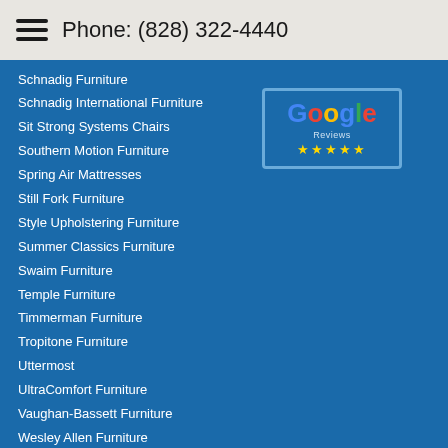Phone: (828) 322-4440
Schnadig Furniture
Schnadig International Furniture
Sit Strong Systems Chairs
Southern Motion Furniture
Spring Air Mattresses
Still Fork Furniture
Style Upholstering Furniture
Summer Classics Furniture
Swaim Furniture
Temple Furniture
Timmerman Furniture
Tropitone Furniture
Uttermost
UltraComfort Furniture
Vaughan-Bassett Furniture
Wesley Allen Furniture
Wesley Hall Furniture
Woodard Furniture
[Figure (logo): Google Reviews five-star logo badge]